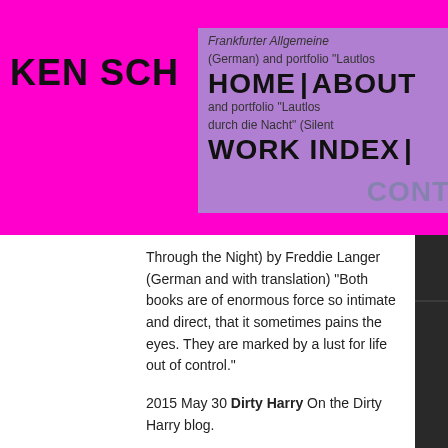KEN SCH
[Figure (screenshot): Website navigation overlay with magenta background and purple-tinted nav box showing HOME | ABOUT / WORK INDEX | CONT links]
Frankfurter Allgemeine (German) and portfolio 'Lautlos durch die Nacht' (Silent Through the Night) by Freddie Langer (German and with translation) "Both books are of enormous force so intimate and direct, that it sometimes pains the eyes. They are marked by a lust for life out of control."
2015 May 30 Dirty Harry On the Dirty Harry blog.